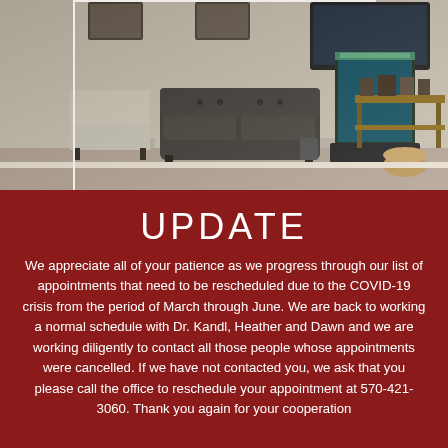[Figure (photo): Interior photo of a medical office waiting room with a dark leather loveseat, striped armchair, fish tank, wall-mounted TV, and a side console table with framed photos. Beige/tan walls.]
UPDATE
We appreciate all of your patience as we progress through our list of appointments that need to be rescheduled due to the COVID-19 crisis from the period of March through June. We are back to working a normal schedule with Dr. Kandl, Heather and Dawn and we are working diligently to contact all those people whose appointments were cancelled. If we have not contacted you, we ask that you please call the office to reschedule your appointment at 570-421-3060. Thank you again for your cooperation